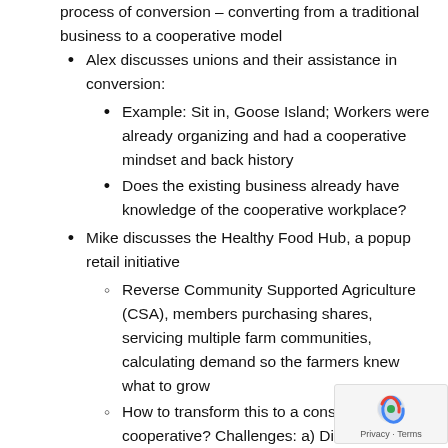process of conversion – converting from a traditional business to a cooperative model
Alex discusses unions and their assistance in conversion:
Example: Sit in, Goose Island; Workers were already organizing and had a cooperative mindset and back history
Does the existing business already have knowledge of the cooperative workplace?
Mike discusses the Healthy Food Hub, a popup retail initiative
Reverse Community Supported Agriculture (CSA), members purchasing shares, servicing multiple farm communities, calculating demand so the farmers knew what to grow
How to transform this to a consumer cooperative? Challenges: a) Didn't have a